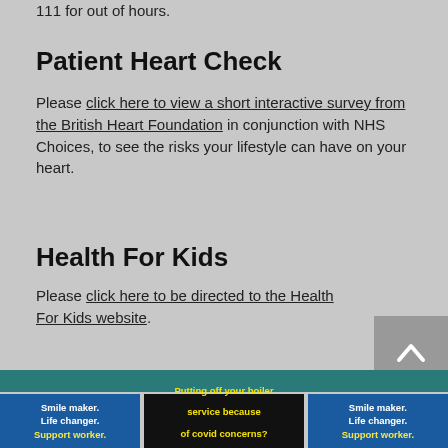111 for out of hours.
Patient Heart Check
Please click here to view a short interactive survey from the British Heart Foundation in conjunction with NHS Choices, to see the risks your lifestyle can have on your heart.
Health For Kids
Please click here to be directed to the Health For Kids website.
[Figure (screenshot): Back to top arrow button (grey square with white chevron pointing up)]
[Figure (infographic): Teal footer bar followed by three advertisement banners: two blue 'Smile maker. Life changer. Support worker.' banners and one black 'Putting off your boiler service because of covid concerns? CLICK HERE' banner with yellow text]